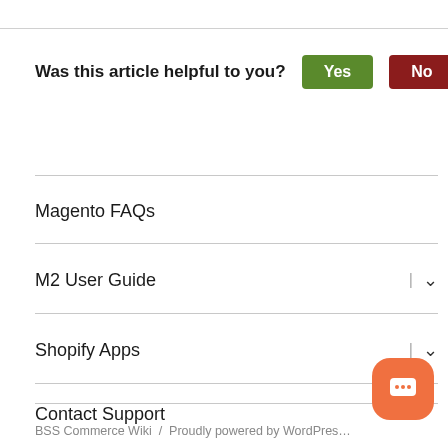Was this article helpful to you? Yes No
Magento FAQs
M2 User Guide
Shopify Apps
Contact Support
BSS Commerce Wiki / Proudly powered by WordPress